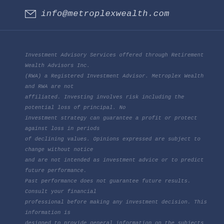info@metroplexwealth.com
Investment Advisory Services offered through Retirement Wealth Advisors Inc. (RWA) a Registered Investment Advisor. Metroplex Wealth and RWA are not affiliated. Investing involves risk including the potential loss of principal. No investment strategy can guarantee a profit or protect against loss in periods of declining values. Opinions expressed are subject to change without notice and are not intended as investment advice or to predict future performance. Past performance does not guarantee future results. Consult your financial professional before making any investment decision. This information is designed to provide general information on the subjects covered, it is not, however, intended to provide specific legal or tax advice and cannot be used to avoid tax penalties or to promote, market, or recommend any tax plan or arrangement. Please note that Metroplex Wealth and its affiliates do not give legal or tax advice. You are encouraged to consult your tax advisor or